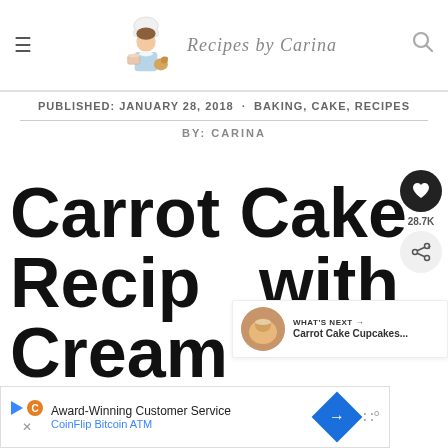Recipes by Carina
PUBLISHED: JANUARY 28, 2018 · BAKING, CAKE, RECIPES
BY: CARINA
Carrot Cake Recipe with Cream Che...
[Figure (other): What's Next promo card showing Carrot Cake Cupcakes thumbnail]
[Figure (other): Advertisement banner: Award-Winning Customer Service, CoinFlip Bitcoin ATM]